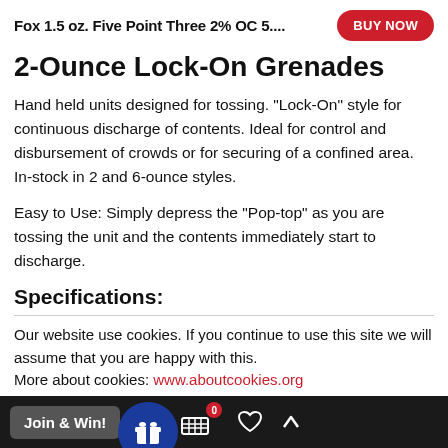Fox 1.5 oz. Five Point Three 2% OC 5....
2-Ounce Lock-On Grenades
Hand held units designed for tossing. "Lock-On" style for continuous discharge of contents. Ideal for control and disbursement of crowds or for securing of a confined area. In-stock in 2 and 6-ounce styles.
Easy to Use: Simply depress the "Pop-top" as you are tossing the unit and the contents immediately start to discharge.
Specifications:
Our website use cookies. If you continue to use this site we will assume that you are happy with this.
More about cookies: www.aboutcookies.org
ACCEPT COOKIES
Join & Win!